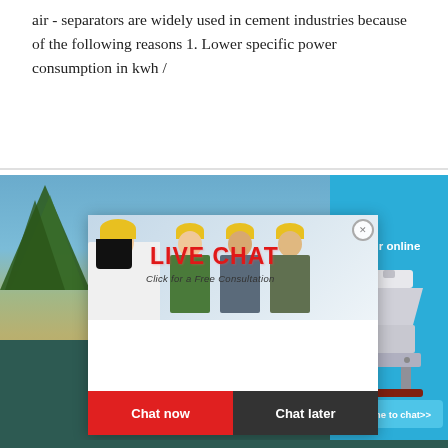air - separators are widely used in cement industries because of the following reasons 1. Lower specific power consumption in kwh /
[Figure (photo): Live chat popup overlay on a quarry/industrial site background photo. Shows workers in yellow hard hats, 'LIVE CHAT' heading in red, 'Click for a Free Consultation' text, 'Chat now' (red) and 'Chat later' (dark) buttons, and a right panel in blue with 'hour online' text, industrial machine image, and 'Click me to chat>>' button.]
[Figure (infographic): Footer bar with dark teal background showing a yellow speech bubble chat icon with three dots, and 'Chat Online' text in white.]